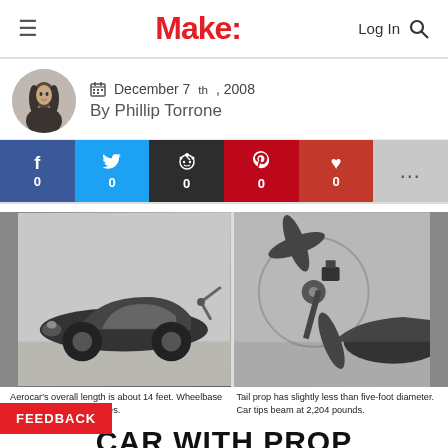Make:
December 7th, 2008
By Phillip Torrone
[Figure (infographic): Social sharing bar with Facebook (0), Twitter (0), Reddit (0), Pinterest (0), Heart/Save (0), and More buttons]
[Figure (photo): Two black and white photos: left shows a low-slung Argentine Aerocar (about 14 feet long, 97-inch wheelbase); right shows the tail propeller of the car (slightly less than five-foot diameter, car tips beam at 2,204 pounds).]
Aerocar's overall length is about 14 feet. Wheelbase measures about 97 inches.    Tail prop has slightly less than five-foot diameter. Car tips beam at 2,204 pounds.
CAR WITH PROP
nique Argentine Aerocar can do 100 mph and is being considered for mass production in the U.S.
FEEDBACK